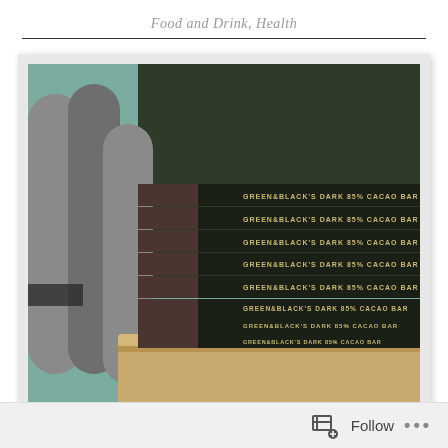Food and Drink, Health
[Figure (photo): Stack of Green & Black's Dark 85% Cacao Bars stacked on a wooden block, with metal cylinders visible on the left, on a teal/green surface.]
Follow ...